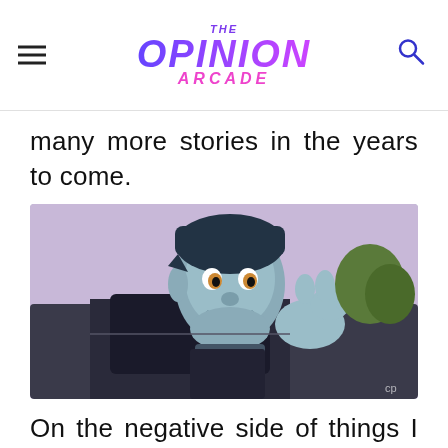THE OPINION ARCADE
many more stories in the years to come.
[Figure (photo): Animated character from Pixar's Onward — Barley, a blue-skinned elf with dark hair, leaning out of a car window and gesturing with his hand, smiling.]
On the negative side of things I would argue that Pratt's Barley is